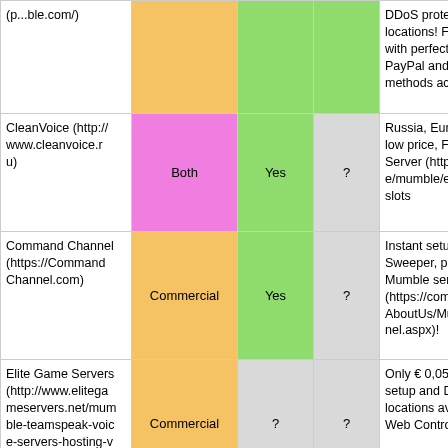| Provider | Type | Murmur | Ice | Notes |
| --- | --- | --- | --- | --- |
| (p...ble.com/) |  |  |  | DDoS protect... locations! Firs... with perfect fo... PayPal and Bi... methods acce... |
| CleanVoice (http://www.cleanvoice.ru) | Both | Yes | ? | Russia, Europ... low price, Fre... Server (http://... e/mumble/en.... slots |
| Command Channel (https://CommandChannel.com) | Commercial | Yes | ? | Instant setup, Sweeper, pow... Mumble serve... (https://comm... AboutUs/Mum... nel.aspx)! |
| Elite Game Servers (http://www.elitegameservers.net/mum ble-teamspeak-voic e-servers-hosting-v oip) | Commercial | ? | ? | Only € 0,05 p... setup and DD... locations avai... Web Control P... |
| Guild Shout (http://...) |  |  |  | First Month F... w.guildshout.c... |